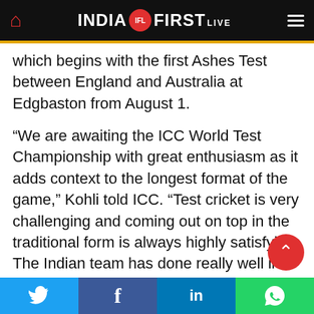INDIA FIRST LIVE
which begins with the first Ashes Test between England and Australia at Edgbaston from August 1.
“We are awaiting the ICC World Test Championship with great enthusiasm as it adds context to the longest format of the game,” Kohli told ICC. “Test cricket is very challenging and coming out on top in the traditional form is always highly satisfying. The Indian team has done really well in recent years and will be fancying its chances in the championship.”
India, currently placed at the top spot in ICC
Twitter | Facebook | LinkedIn | WhatsApp